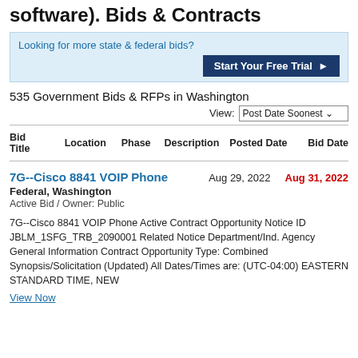software). Bids & Contracts
Looking for more state & federal bids?
Start Your Free Trial ▶
535 Government Bids & RFPs in Washington
View: Post Date Soonest
| Bid Title | Location | Phase | Description | Posted Date | Bid Date |
| --- | --- | --- | --- | --- | --- |
| 7G--Cisco 8841 VOIP Phone | Federal, Washington |  | Active Bid / Owner: Public | Aug 29, 2022 | Aug 31, 2022 |
7G--Cisco 8841 VOIP Phone Active Contract Opportunity Notice ID JBLM_1SFG_TRB_2090001 Related Notice Department/Ind. Agency General Information Contract Opportunity Type: Combined Synopsis/Solicitation (Updated) All Dates/Times are: (UTC-04:00) EASTERN STANDARD TIME, NEW
View Now